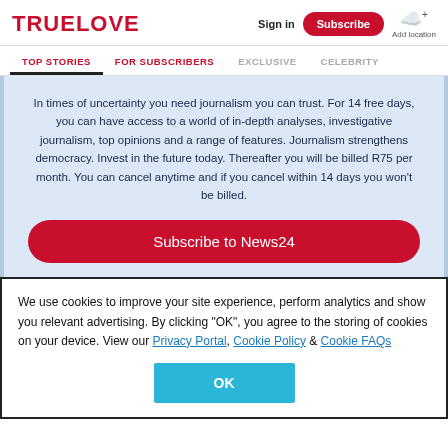TRUELOVE | Sign in | Subscribe | Add location
TOP STORIES | FOR SUBSCRIBERS | EXCLUSIVE | CELEBRITY
In times of uncertainty you need journalism you can trust. For 14 free days, you can have access to a world of in-depth analyses, investigative journalism, top opinions and a range of features. Journalism strengthens democracy. Invest in the future today. Thereafter you will be billed R75 per month. You can cancel anytime and if you cancel within 14 days you won't be billed.
Subscribe to News24
We use cookies to improve your site experience, perform analytics and show you relevant advertising. By clicking "OK", you agree to the storing of cookies on your device. View our Privacy Portal, Cookie Policy & Cookie FAQs
OK